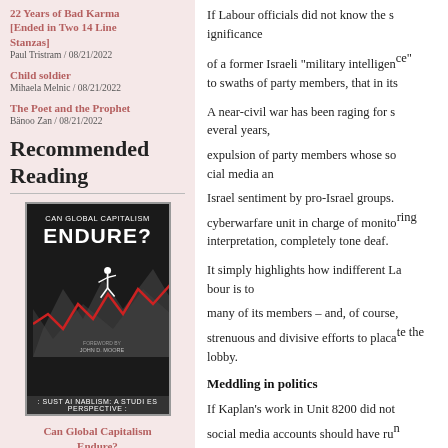22 Years of Bad Karma [Ended in Two 14 Line Stanzas]
Paul Tristram / 08/21/2022
Child soldier
Mihaela Melnic / 08/21/2022
The Poet and the Prophet
Bänoo Zan / 08/21/2022
Recommended Reading
[Figure (illustration): Book cover for 'Can Global Capitalism Endure?' by William I. Robinson. Dark background with large bold white text. A figure running with a red jagged line beneath. Foreword by John B. Moore.]
Can Global Capitalism Endure?
William I. Robinson
If Labour officials did not know the significance of a former Israeli "military intelligence" operative to swaths of party members, that in its...
A near-civil war has been raging for several years, expulsion of party members whose social media an Israel sentiment by pro-Israel groups. cyberwarfare unit in charge of monitoring interpretation, completely tone deaf.
It simply highlights how indifferent Labour is to many of its members – and, of course, its strenuous and divisive efforts to placate the Israel lobby.
Meddling in politics
If Kaplan's work in Unit 8200 did not social media accounts should have run operative for Israel's military spying n... the disgraced Shai Masot, a far more p...